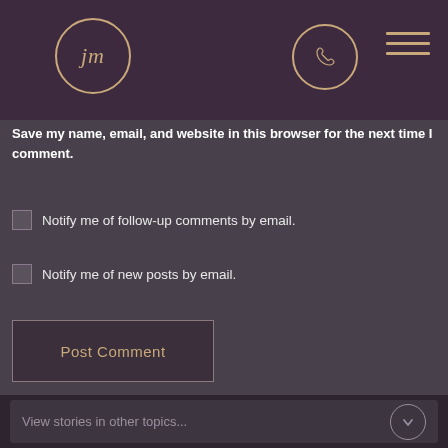[Figure (logo): Circular logo with stylized 'jm' initials in italic, gold/tan color on dark purple background]
[Figure (other): Phone icon inside a circle, gold outline, on dark purple header]
[Figure (other): Hamburger menu icon, three horizontal gold lines, on dark purple header]
Save my name, email, and website in this browser for the next time I comment.
Notify me of follow-up comments by email.
Notify me of new posts by email.
Post Comment
View stories in other topics...